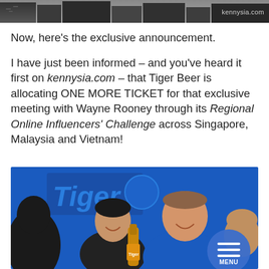[Figure (photo): Top strip image showing a dark urban/building scene, partially cropped]
kennysia.com
Now, here’s the exclusive announcement.

I have just been informed – and you’ve heard it first on kennysia.com – that Tiger Beer is allocating ONE MORE TICKET for that exclusive meeting with Wayne Rooney through its Regional Online Influencers’ Challenge across Singapore, Malaysia and Vietnam!
[Figure (photo): Photo of three men at a Tiger Beer event, smiling, with a Tiger Beer bottle in the foreground. One of the men appears to be Wayne Rooney.]